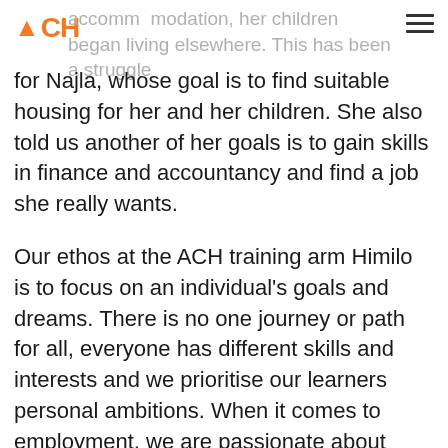ACH | [hamburger menu icon]
accommodation, her children began living elsewhere. This has been a struggle for Najla, whose goal is to find suitable housing for her and her children. She also told us another of her goals is to gain skills in finance and accountancy and find a job she really wants.
Our ethos at the ACH training arm Himilo is to focus on an individual's goals and dreams. There is no one journey or path for all, everyone has different skills and interests and we prioritise our learners personal ambitions. When it comes to employment, we are passionate about guiding our tenants and learners towards medium and higher level jobs, and